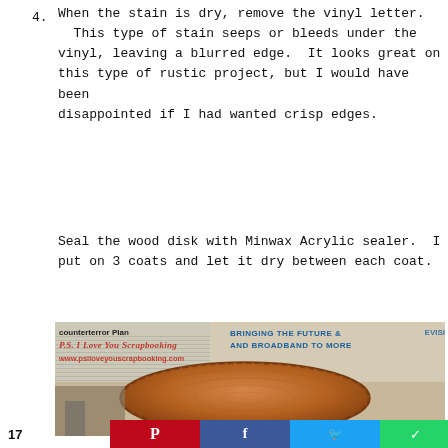4. When the stain is dry, remove the vinyl letter.  This type of stain seeps or bleeds under the vinyl, leaving a blurred edge.  It looks great on this type of rustic project, but I would have been disappointed if I had wanted crisp edges.
5. Seal the wood disk with Minwax Acrylic sealer.  I put on 3 coats and let it dry between each coat.
[Figure (photo): Photo showing a wood disk with stain applied, with newspaper clippings in background. Overlaid text includes 'counterterror Plan', 'P.S. I Love You Scrapbooking', 'www.psiloveyouscrapbooking.com', 'BRINGING THE FUTURE AND BROADBAND TO MORE...' in blue text.]
17